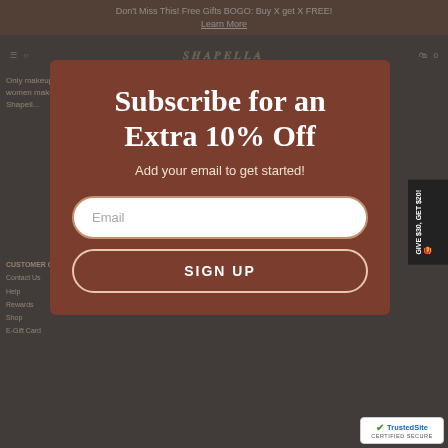Don't Miss This! Free Gifts BOGO: Buy X get X FREE!
Learn More
SHAPELLA
GIVE $30, GET $20!
Subscribe for an Extra 10% Off
Add your email to get started!
Email
SIGN UP
CUSTOMER CARE
Contact Us
Help
Rewards
Shop
E-Gift Card
DISCOVER SHAPELLA
Shop All
Press
[Figure (logo): TrustedSite Certified Secure badge with green checkmark]